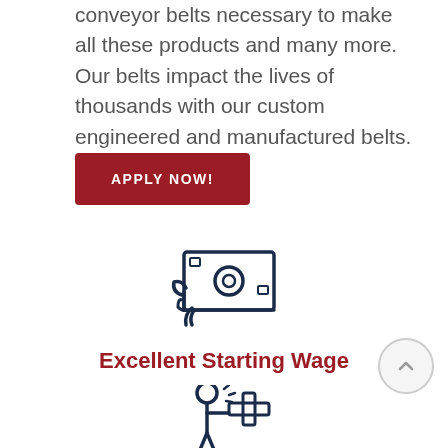conveyor belts necessary to make all these products and many more. Our belts impact the lives of thousands with our custom engineered and manufactured belts.
APPLY NOW!
[Figure (illustration): Icon of a hand holding a dollar bill / money]
Excellent Starting Wage
[Figure (illustration): Icon of a person with a medical cross / health benefit symbol]